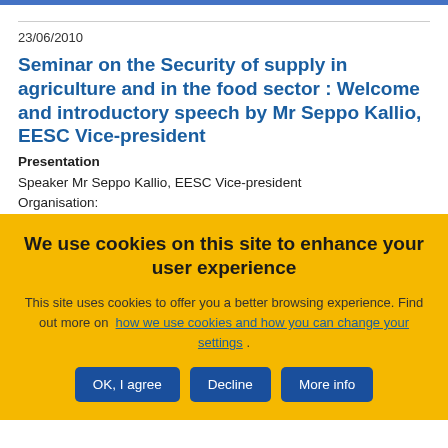23/06/2010
Seminar on the Security of supply in agriculture and in the food sector : Welcome and introductory speech by Mr Seppo Kallio, EESC Vice-president
Presentation
Speaker Mr Seppo Kallio, EESC Vice-president
Organisation:
We use cookies on this site to enhance your user experience
This site uses cookies to offer you a better browsing experience. Find out more on how we use cookies and how you can change your settings .